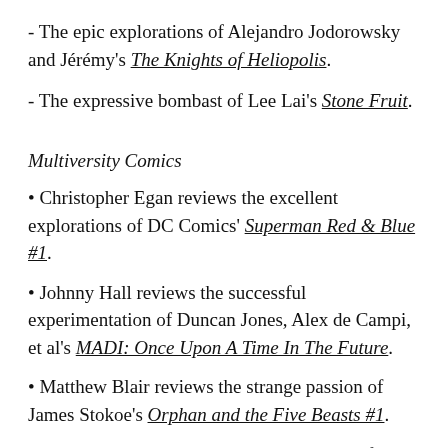- The epic explorations of Alejandro Jodorowsky and Jérémy's The Knights of Heliopolis.
- The expressive bombast of Lee Lai's Stone Fruit.
Multiversity Comics
• Christopher Egan reviews the excellent explorations of DC Comics' Superman Red & Blue #1.
• Johnny Hall reviews the successful experimentation of Duncan Jones, Alex de Campi, et al's MADI: Once Upon A Time In The Future.
• Matthew Blair reviews the strange passion of James Stokoe's Orphan and the Five Beasts #1.
• Mark Tweedale reviews the teasing setup of Mike